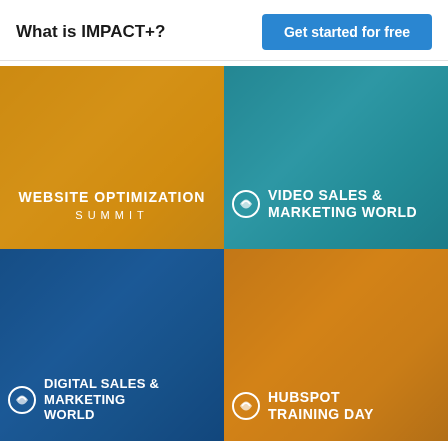What is IMPACT+?
Get started for free
[Figure (infographic): Website Optimization Summit - gold/amber overlay with laptop background]
[Figure (infographic): Video Sales & Marketing World - teal overlay with laptop and presenter background]
[Figure (infographic): Digital Sales & Marketing World - dark blue overlay with laptop background]
[Figure (infographic): HubSpot Training Day - amber/orange overlay with laptop and person background]